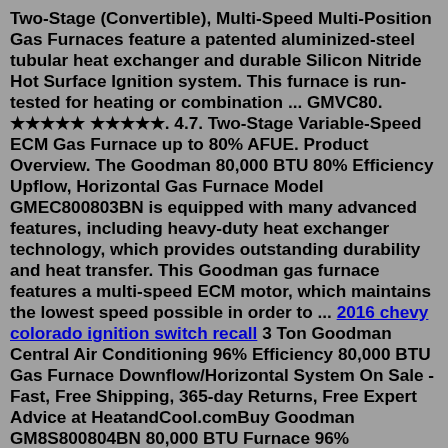Two-Stage (Convertible), Multi-Speed Multi-Position Gas Furnaces feature a patented aluminized-steel tubular heat exchanger and durable Silicon Nitride Hot Surface Ignition system. This furnace is run-tested for heating or combination ... GMVC80. ★★★★★ ★★★★★. 4.7. Two-Stage Variable-Speed ECM Gas Furnace up to 80% AFUE. Product Overview. The Goodman 80,000 BTU 80% Efficiency Upflow, Horizontal Gas Furnace Model GMEC800803BN is equipped with many advanced features, including heavy-duty heat exchanger technology, which provides outstanding durability and heat transfer. This Goodman gas furnace features a multi-speed ECM motor, which maintains the lowest speed possible in order to ... 2016 chevy colorado ignition switch recall 3 Ton Goodman Central Air Conditioning 96% Efficiency 80,000 BTU Gas Furnace Downflow/Horizontal System On Sale - Fast, Free Shipping, 365-day Returns, Free Expert Advice at HeatandCool.comBuy Goodman GM8S800804BN 80,000 BTU Furnace 96%